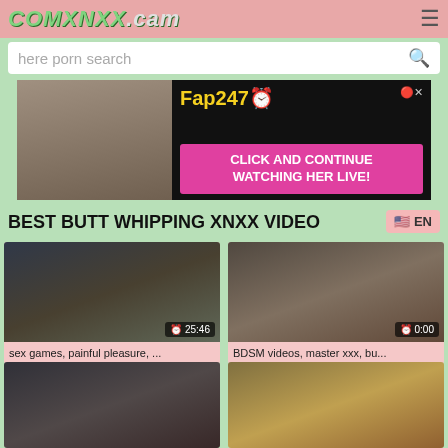COMXNXX.cam
here porn search
[Figure (photo): Advertisement banner for Fap247 live cam site with click and continue watching her live call to action]
BEST BUTT WHIPPING XNXX VIDEO
🇺🇸 EN
[Figure (photo): Video thumbnail - sex games, painful pleasure - duration 25:46]
sex games, painful pleasure, ...
[Figure (photo): Video thumbnail - BDSM videos, master xxx, bu... - duration 0:00]
BDSM videos, master xxx, bu...
[Figure (photo): Video thumbnail - partially visible at bottom left]
[Figure (photo): Video thumbnail - anatomy/skeleton image - partially visible at bottom right]